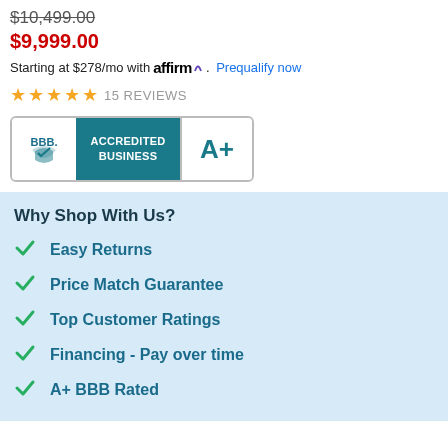$10,499.00 (strikethrough original price)
$9,999.00 (sale price)
Starting at $278/mo with affirm. Prequalify now
★★★★★ 15 REVIEWS
[Figure (logo): BBB Accredited Business A+ badge]
Why Shop With Us?
Easy Returns
Price Match Guarantee
Top Customer Ratings
Financing - Pay over time
A+ BBB Rated